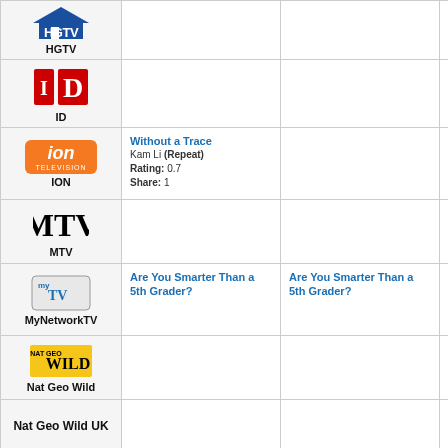| Network | Col2 | Col3 | Col4 |
| --- | --- | --- | --- |
| HGTV |  |  |  |
| ID |  |  |  |
| ION | Without a Trace
Kam Li (Repeat)
Rating: 0.7
Share: 1 |  | Cri... |
| MTV |  |  |  |
| MyNetworkTV | Are You Smarter Than a 5th Grader? | Are You Smarter Than a 5th Grader? | Do... Ly... |
| Nat Geo Wild |  |  | Da...
Dea... |
| Nat Geo Wild UK |  |  | An...
Ele... |
| NBA TV |  |  | NB...
Pho... |